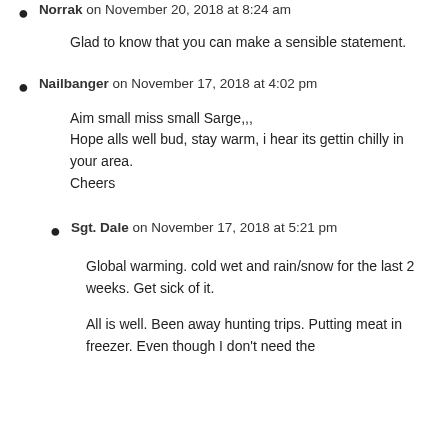Norrak on November 20, 2018 at 8:24 am
Glad to know that you can make a sensible statement.
Nailbanger on November 17, 2018 at 4:02 pm
Aim small miss small Sarge,,, Hope alls well bud, stay warm, i hear its gettin chilly in your area. Cheers
Sgt. Dale on November 17, 2018 at 5:21 pm
Global warming. cold wet and rain/snow for the last 2 weeks. Get sick of it. All is well. Been away hunting trips. Putting meat in freezer. Even though I don't need the